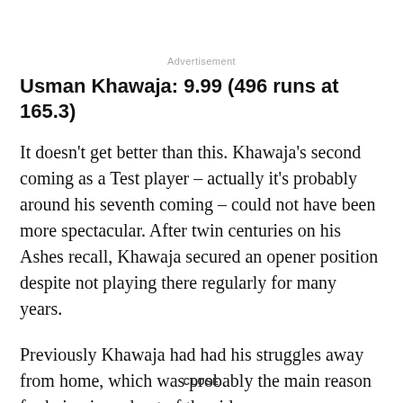Advertisement
Usman Khawaja: 9.99 (496 runs at 165.3)
It doesn't get better than this. Khawaja's second coming as a Test player – actually it's probably around his seventh coming – could not have been more spectacular. After twin centuries on his Ashes recall, Khawaja secured an opener position despite not playing there regularly for many years.
Previously Khawaja had had his struggles away from home, which was probably the main reason for being in and out of the side
CLOSE